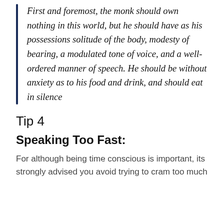First and foremost, the monk should own nothing in this world, but he should have as his possessions solitude of the body, modesty of bearing, a modulated tone of voice, and a well-ordered manner of speech. He should be without anxiety as to his food and drink, and should eat in silence
Tip 4
Speaking Too Fast:
For although being time conscious is important, its strongly advised you avoid trying to cram too much